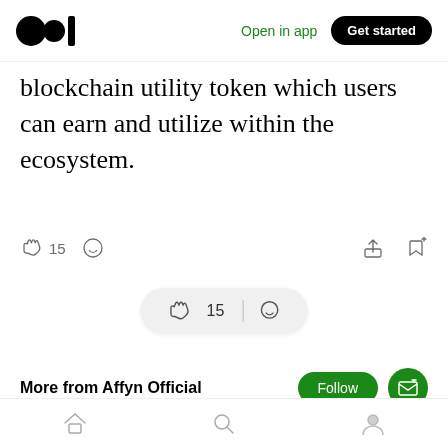Open in app | Get started
blockchain utility token which users can earn and utilize within the ecosystem.
[Figure (screenshot): Article action bar with clap icon showing 15 claps, comment icon, share icon, and bookmark icon]
[Figure (screenshot): Floating pill showing clap icon with 15 and comment icon]
More from Affyn Official
We are a startup in Singapore who wants to remind people of
Bottom navigation: Home, Search, Profile